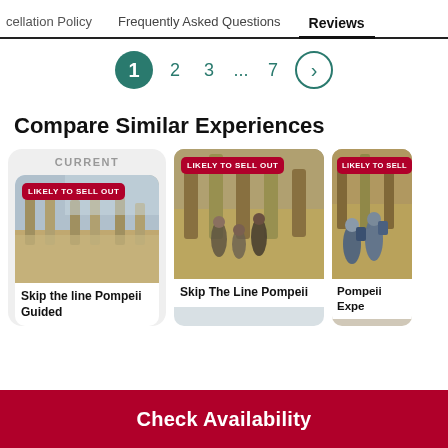cellation Policy   Frequently Asked Questions   Reviews
[Figure (other): Pagination control showing pages 1 (current, active), 2, 3, ..., 7, and a next arrow button]
Compare Similar Experiences
[Figure (other): Card labeled CURRENT with an image of Pompeii ruins, badge 'LIKELY TO SELL OUT', and title 'Skip the line Pompeii Guided']
[Figure (other): Card with Pompeii image, badge 'LIKELY TO SELL OUT', and title 'Skip The Line Pompeii']
[Figure (other): Partially visible card with ruins image, badge 'LIKELY TO SELL', and title 'Pompeii Expe']
Check Availability